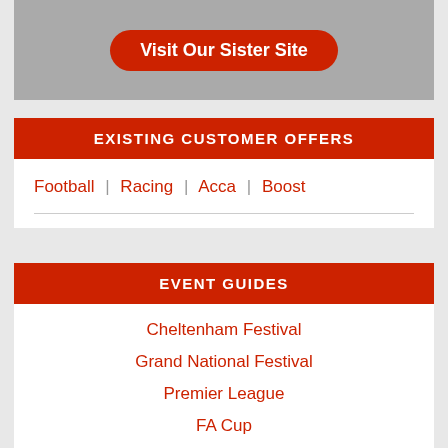[Figure (illustration): Gray banner with a red rounded button labeled 'Visit Our Sister Site']
EXISTING CUSTOMER OFFERS
Football | Racing | Acca | Boost
EVENT GUIDES
Cheltenham Festival
Grand National Festival
Premier League
FA Cup
Champions League